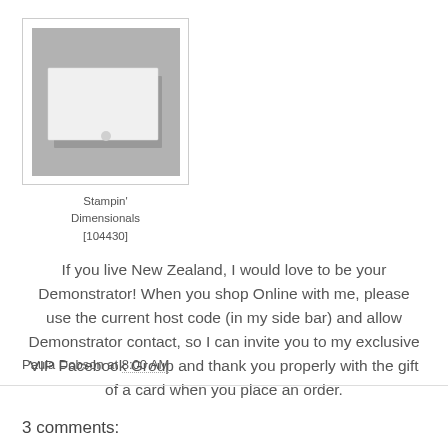[Figure (photo): Product image of Stampin' Dimensionals shown on a grey background with white adhesive squares]
Stampin' Dimensionals [104430]
If you live New Zealand, I would love to be your Demonstrator! When you shop Online with me, please use the current host code (in my side bar) and allow Demonstrator contact, so I can invite you to my exclusive VIP Facebook Group and thank you properly with the gift of a card when you place an order.
Paula Dobson at 8:00 AM
3 comments: